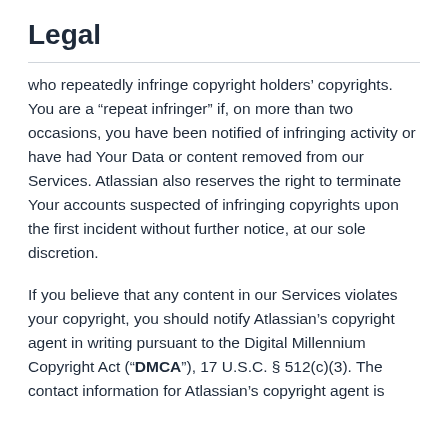Legal
who repeatedly infringe copyright holders' copyrights. You are a “repeat infringer” if, on more than two occasions, you have been notified of infringing activity or have had Your Data or content removed from our Services. Atlassian also reserves the right to terminate Your accounts suspected of infringing copyrights upon the first incident without further notice, at our sole discretion.
If you believe that any content in our Services violates your copyright, you should notify Atlassian's copyright agent in writing pursuant to the Digital Millennium Copyright Act (“DMCA”), 17 U.S.C. § 512(c)(3). The contact information for Atlassian's copyright agent is